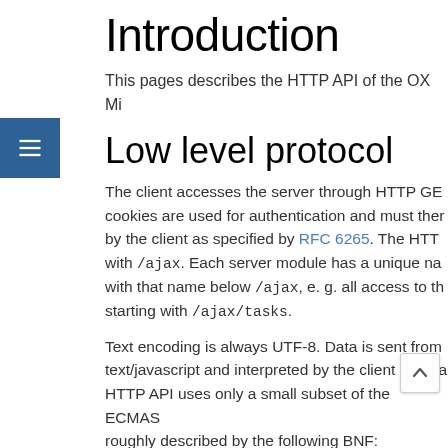Introduction
This pages describes the HTTP API of the OX Mi...
Low level protocol
The client accesses the server through HTTP GE... cookies are used for authentication and must ther... by the client as specified by RFC 6265. The HTT... with /ajax. Each server module has a unique na... with that name below /ajax, e. g. all access to th... starting with /ajax/tasks.
Text encoding is always UTF-8. Data is sent from... text/javascript and interpreted by the client to obta... HTTP API uses only a small subset of the ECMAS... roughly described by the following BNF:
Value   ::= "null" | Boolean | Numb   S
Boolean ::= "true" | "false"
Number  ::= see NumericLiteral in E.... 26
String  ::= \"([^"\n\\]|\\["\n\\])*\"